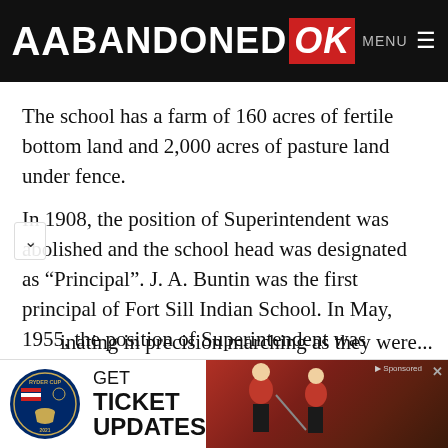ABANDONED OK MENU
The school has a farm of 160 acres of fertile bottom land and 2,000 acres of pasture land under fence.
In 1908, the position of Superintendent was abolished and the school head was designated as “Principal”. J. A. Buntin was the first principal of Fort Sill Indian School. In May, 1955, the position of Superintendent was reestablished with James Wallace being promoted to that position. In the early years of the school, strict militaristic-type discipline was a part of the Fort Sill program. It was not uncommon to observe students participating in precision marching as they were…
[Figure (photo): Ryder Cup 2021 advertisement banner with golfers in red shirts and Ryder Cup logo. Text: GET TICKET UPDATES.]